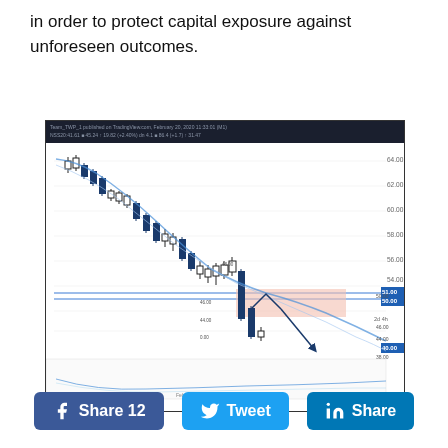in order to protect capital exposure against unforeseen outcomes.
[Figure (screenshot): TradingView candlestick chart showing a downtrending stock/asset. The chart shows price declining from around 64 to 40, with candlestick patterns, a blue moving average curve, horizontal support lines at 51.00 and 50.00, a shaded pink resistance zone, and an annotated arrow showing expected price movement down to 40.00 target. A secondary oscillator panel is shown at the bottom.]
Share 12   Tweet   Share